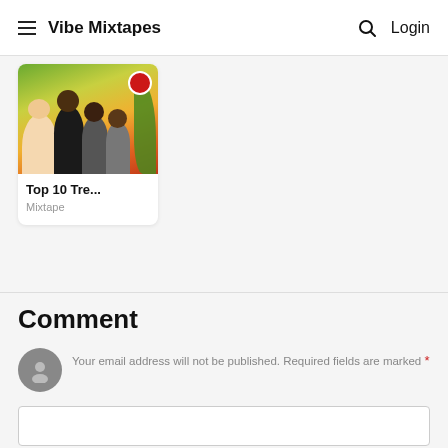Vibe Mixtapes   Login
[Figure (photo): Card with group photo thumbnail labeled 'Top 10 Tre...' with category 'Mixtape']
Comment
Your email address will not be published. Required fields are marked *